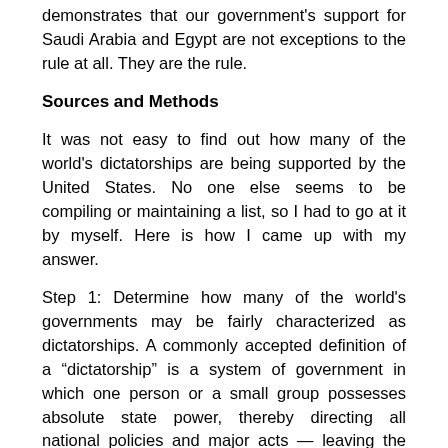demonstrates that our government's support for Saudi Arabia and Egypt are not exceptions to the rule at all. They are the rule.
Sources and Methods
It was not easy to find out how many of the world's dictatorships are being supported by the United States. No one else seems to be compiling or maintaining a list, so I had to go at it by myself. Here is how I came up with my answer.
Step 1: Determine how many of the world's governments may be fairly characterized as dictatorships. A commonly accepted definition of a “dictatorship” is a system of government in which one person or a small group possesses absolute state power, thereby directing all national policies and major acts — leaving the people powerless to alter those decisions or replace those in power by any method short of revolution or coup. I examined a number of websites and organizations that claimed to maintain lists of the world’s dictatorships, but most of them were either dated, listed only the world’s “worst dictators” or had similar limitations. After failing